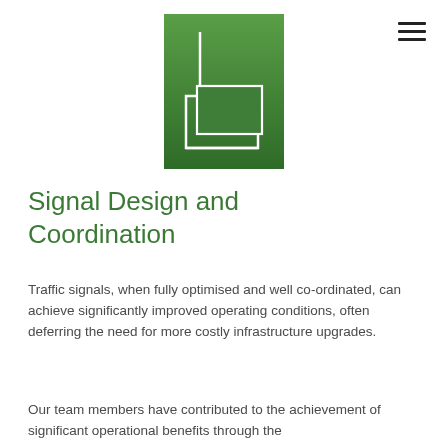[Figure (logo): Green gradient rectangular logo with white line-art depicting overlapping rectangular frames/screens, representing an engineering or design firm logo]
Signal Design and Coordination
Traffic signals, when fully optimised and well co-ordinated, can achieve significantly improved operating conditions, often deferring the need for more costly infrastructure upgrades.
Our team members have contributed to the achievement of significant operational benefits through the